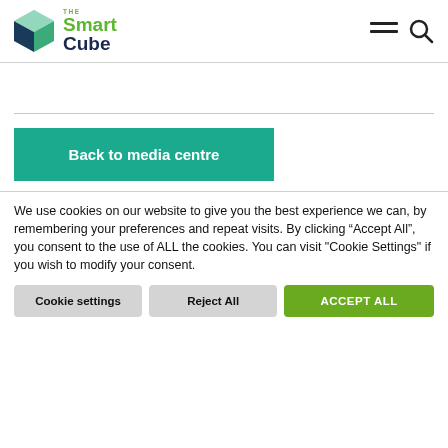The Smart Cube
[Figure (logo): The Smart Cube logo with green cube icon and green/navy text]
Back to media centre
We use cookies on our website to give you the best experience we can, by remembering your preferences and repeat visits. By clicking “Accept All”, you consent to the use of ALL the cookies. You can visit "Cookie Settings" if you wish to modify your consent.
Cookie settings | Reject All | ACCEPT ALL